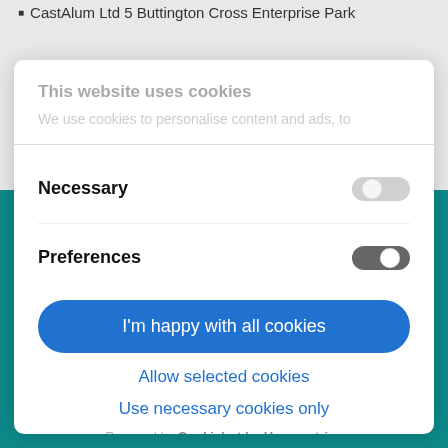CastAlum Ltd 5 Buttington Cross Enterprise Park
This website uses cookies
We use cookies to personalise content and ads, to
Necessary
Preferences
I'm happy with all cookies
Allow selected cookies
Use necessary cookies only
Powered by Cookiebot by Usercentrics